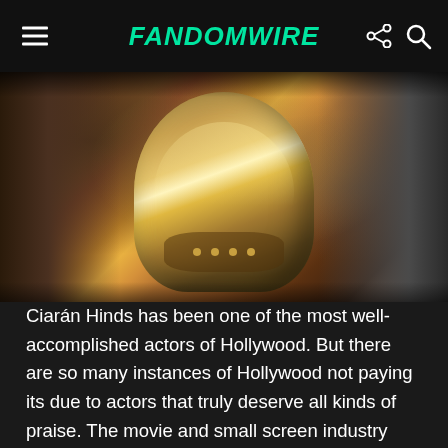FandomWire
[Figure (photo): Close-up photo of armored fantasy/medieval characters, showing ornate bronze/gold chest armor with fur-trimmed garments and chainmail/scale armor on the right side]
Ciarán Hinds has been one of the most well-accomplished actors of Hollywood. But there are so many instances of Hollywood not paying its due to actors that truly deserve all kinds of praise. The movie and small screen industry would have been in the middle of nowhere if not for legends like Ciarán Hinds. If you think he does not deserve praise, then you probably need to read this list.